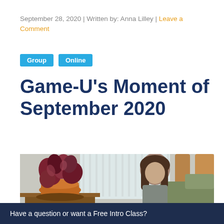September 28, 2020 | Written by: Anna Lilley | Leave a Comment
Group  Online
Game-U's Moment of September 2020
[Figure (photo): A young girl with long brown hair sitting in a green armchair, leaning forward, with a potted plant with red/purple leaves on a wooden table in the foreground, and a window with blinds in the background.]
Have a question or want a Free Intro Class?